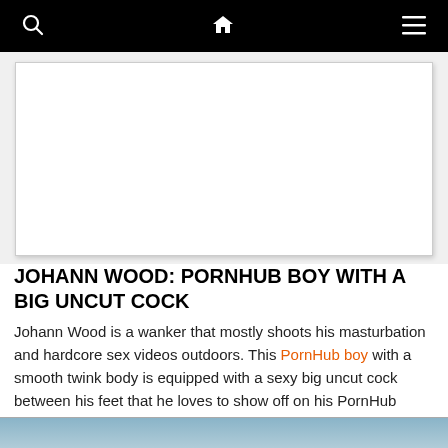Navigation bar with search, home, and menu icons
[Figure (other): White advertisement banner placeholder]
JOHANN WOOD: PORNHUB BOY WITH A BIG UNCUT COCK
Johann Wood is a wanker that mostly shoots his masturbation and hardcore sex videos outdoors. This PornHub boy with a smooth twink body is equipped with a sexy big uncut cock between his feet that he loves to show off on his PornHub channel. He either doesn't show his face in the videos, or it's blurred out. But you can tell from the blurred ones that he is pretty handsome. So far he has uploaded 133 videos of him wanking and having his way with girls, so I guess he's straight
[Figure (photo): Partially visible image at bottom of page]